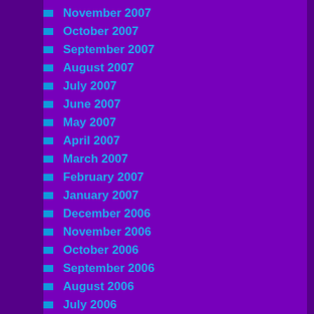November 2007
October 2007
September 2007
August 2007
July 2007
June 2007
May 2007
April 2007
March 2007
February 2007
January 2007
December 2006
November 2006
October 2006
September 2006
August 2006
July 2006
June 2006
May 2006
April 2006
March 2006